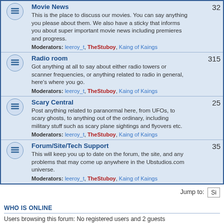|  | Forum | Topics |
| --- | --- | --- |
| [icon] | Movie News
This is the place to discuss our movies. You can say anything you please about them. We also have a sticky that informs you about super important movie news including premieres and progress.
Moderators: leeroy_t, TheStuboy, Kaing of Kaings | 32 |
| [icon] | Radio room
Got anything at all to say about either radio towers or scanner frequencies, or anything related to radio in general, here's where you go.
Moderators: leeroy_t, TheStuboy, Kaing of Kaings | 315 |
| [icon] | Scary Central
Post anything related to paranormal here, from UFOs, to scary ghosts, to anything out of the ordinary, including military stuff such as scary plane sightings and flyovers etc.
Moderators: leeroy_t, TheStuboy, Kaing of Kaings | 25 |
| [icon] | Forum/Site/Tech Support
This will keep you up to date on the forum, the site, and any problems that may come up anywhere in the Ubstudios.com universe.
Moderators: leeroy_t, TheStuboy, Kaing of Kaings | 35 |
Jump to: [Si...
WHO IS ONLINE
Users browsing this forum: No registered users and 2 guests
Board index   The team • Delete all board c...
Powered by phpBB® Forum Software © phpBB Gr...